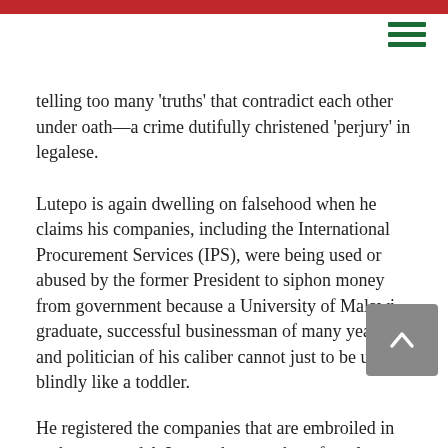telling too many 'truths' that contradict each other under oath—a crime dutifully christened 'perjury' in legalese.
Lutepo is again dwelling on falsehood when he claims his companies, including the International Procurement Services (IPS), were being used or abused by the former President to siphon money from government because a University of Malawi graduate, successful businessman of many years and politician of his caliber cannot just to be used blindly like a toddler.
He registered the companies that are embroiled in cashgate scandal. Lutepo has run them for a long, long time, dating to the era of the late President Bingu wa Mutharika and his Democratic Progressive Party (DPP).